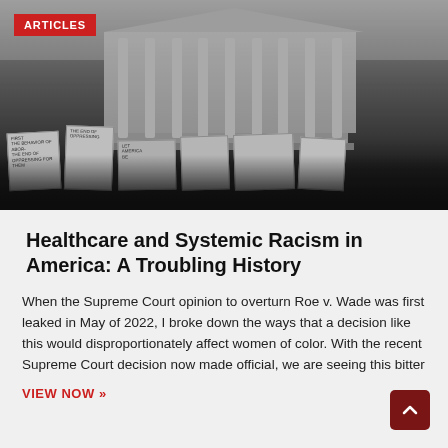[Figure (photo): Black and white photograph of protesters holding signs in front of the Supreme Court building]
ARTICLES
Healthcare and Systemic Racism in America: A Troubling History
When the Supreme Court opinion to overturn Roe v. Wade was first leaked in May of 2022, I broke down the ways that a decision like this would disproportionately affect women of color. With the recent Supreme Court decision now made official, we are seeing this bitter
VIEW NOW »